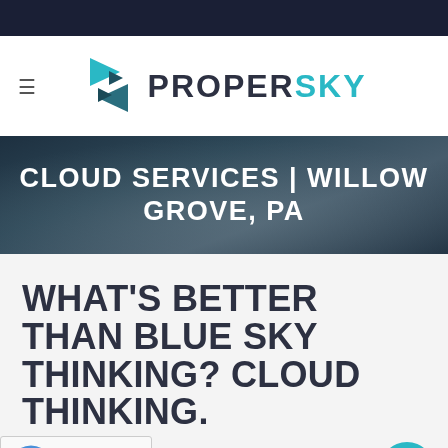[Figure (logo): Dark navy top navigation bar]
[Figure (logo): ProperSky logo with teal triangular icon and dark text PROPERSKY with hamburger menu icon]
CLOUD SERVICES | WILLOW GROVE, PA
WHAT'S BETTER THAN BLUE SKY THINKING? CLOUD THINKING.
Without a doubt, the future of tech revolves around cloud-based software